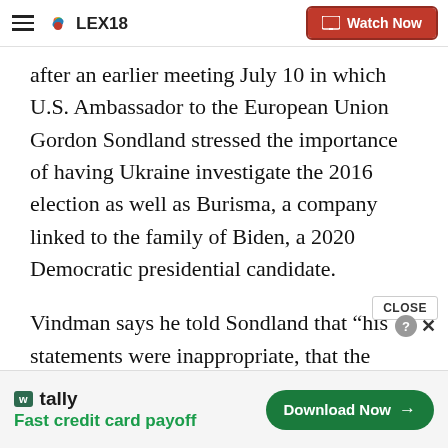LEX18 | Watch Now
after an earlier meeting July 10 in which U.S. Ambassador to the European Union Gordon Sondland stressed the importance of having Ukraine investigate the 2016 election as well as Burisma, a company linked to the family of Biden, a 2020 Democratic presidential candidate.
Vindman says he told Sondland that “his statements were inappropriate, that the request to investigate Biden and his son had nothing to do with national
[Figure (screenshot): Tally app advertisement banner: tally logo, 'Fast credit card payoff' text, and 'Download Now' button]